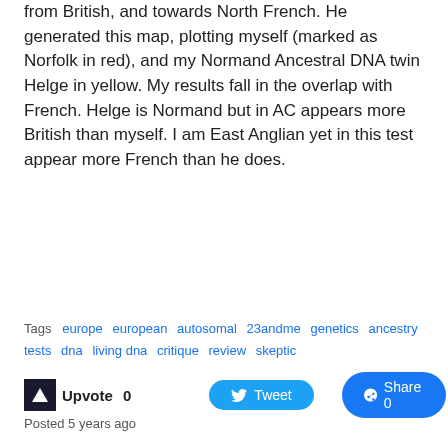from British, and towards North French.  He generated this map, plotting myself (marked as Norfolk in red), and my Normand Ancestral DNA twin Helge in yellow.  My results fall in the overlap with French.  Helge is Normand but in AC appears more British than myself.  I am East Anglian yet in this test appear more French than he does.
Tags  europe  european  autosomal  23andme  genetics  ancestry tests  dna  living dna  critique  review  skeptic
Upvote 0   Tweet   Share 0
Posted 5 years ago